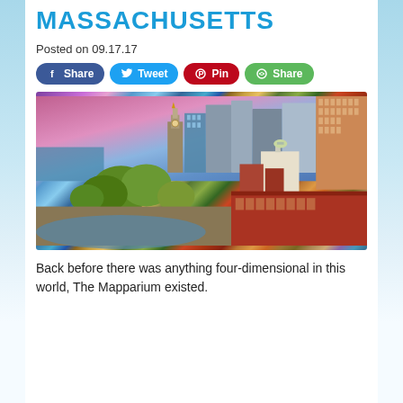MASSACHUSETTS
Posted on 09.17.17
[Figure (other): Social sharing buttons: Facebook Share, Twitter Tweet, Pinterest Pin, Green Share]
[Figure (photo): Aerial/elevated cityscape photo of Boston, Massachusetts at sunset/dusk, showing the Custom House Tower, Faneuil Hall, modern skyscrapers, autumn trees, and colorful sky]
Back before there was anything four-dimensional in this world, The Mapparium existed.